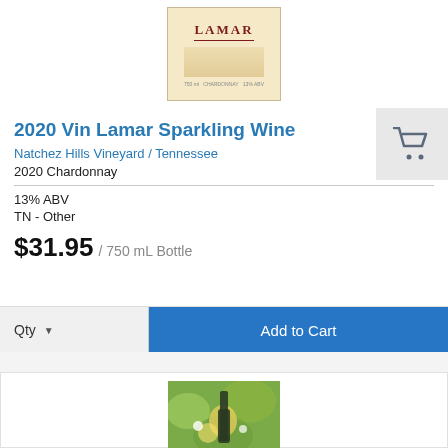[Figure (photo): Wine bottle label showing 'LAMAR' text on a parchment-colored label]
2020 Vin Lamar Sparkling Wine
Natchez Hills Vineyard / Tennessee
2020 Chardonnay
13% ABV
TN - Other
$31.95 / 750 mL Bottle
Qty
Add to Cart
[Figure (photo): Photo of wine bottle among sunflowers and green foliage outdoors]